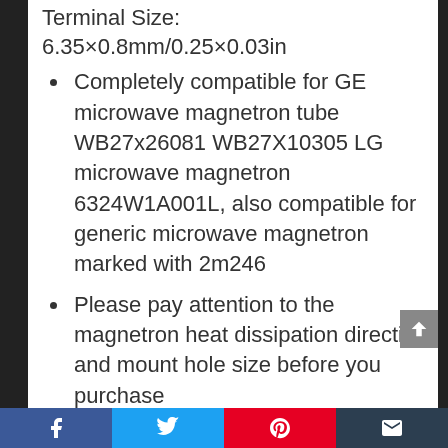Terminal Size:
6.35×0.8mm/0.25×0.03in
Completely compatible for GE microwave magnetron tube WB27x26081 WB27X10305 LG microwave magnetron 6324W1A001L, also compatible for generic microwave magnetron marked with 2m246
Please pay attention to the magnetron heat dissipation direction and mount hole size before you purchase
This part fixes the following symptoms: No heat, and it is a